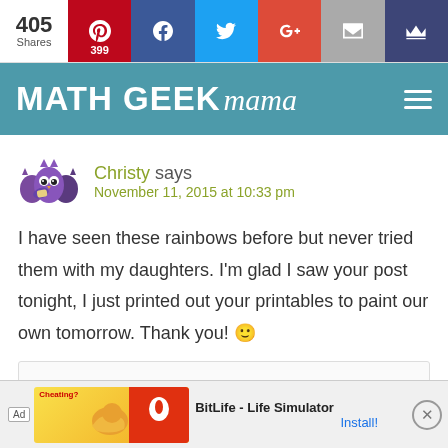405 Shares | Pinterest 399 | Facebook | Twitter | Google+ | Email | Crown
MATH GEEK mama
Christy says
November 11, 2015 at 10:33 pm
I have seen these rainbows before but never tried them with my daughters. I'm glad I saw your post tonight, I just printed out your printables to paint our own tomorrow. Thank you! 🙂
[Figure (other): Ad: BitLife - Life Simulator with Install button]